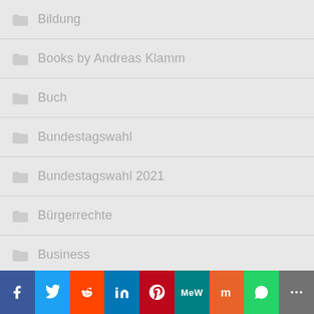Bildung
Books by Andreas Klamm
Buch
Bundestagswahl
Bundestagswahl 2021
Bürgerrechte
Business
City
David Schwarzendahl